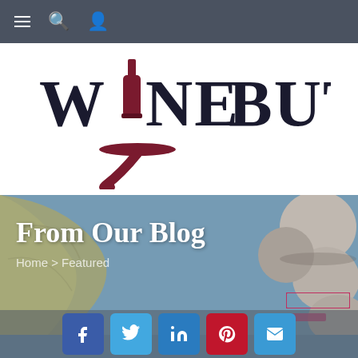Navigation bar with menu, search, and user icons
[Figure (logo): Wine Butler logo: large serif text 'WINE BUTLER' with a wine bottle replacing the 'I' in WINE, and a butler hand holding a tray below]
From Our Blog
Home > Featured
[Figure (photo): Background hero image with yellow/gold vineyard leaves on the left and smooth stones/grapes on the right against a blue-grey sky]
Social share buttons: Facebook, Twitter, LinkedIn, Pinterest, Email